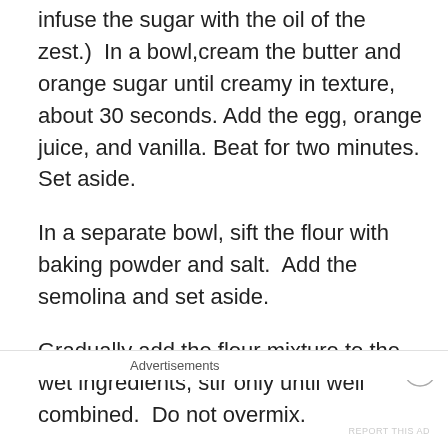infuse the sugar with the oil of the zest.)  In a bowl,cream the butter and orange sugar until creamy in texture, about 30 seconds. Add the egg, orange juice, and vanilla. Beat for two minutes.  Set aside.
In a separate bowl, sift the flour with baking powder and salt.  Add the semolina and set aside.
Gradually add the flour mixture to the wet ingredients, stir only until well combined.  Do not overmix.
Take one spoon from the mixture and shape cookie as desired.  I made a bigger cookie by shaping the dough into a log about 3” long.  Place it on the baking tray leaving around two inch space between each cookie as it spread…
Advertisements